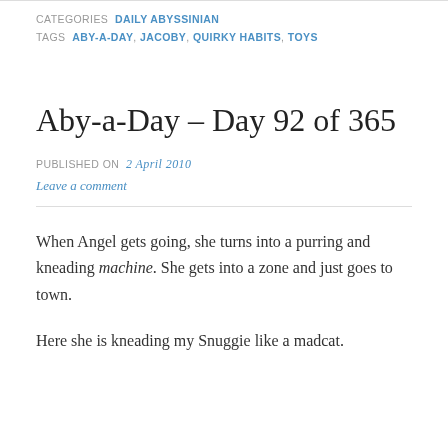CATEGORIES  DAILY ABYSSINIAN
TAGS  ABY-A-DAY, JACOBY, QUIRKY HABITS, TOYS
Aby-a-Day – Day 92 of 365
PUBLISHED ON  2 April 2010
Leave a comment
When Angel gets going, she turns into a purring and kneading machine. She gets into a zone and just goes to town.
Here she is kneading my Snuggie like a madcat.